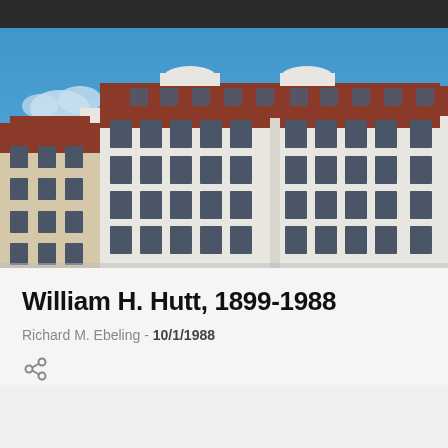[Figure (photo): Photograph of a large white European-style multi-story building with red-tiled dormers and many rectangular windows, photographed against a blue sky with light clouds.]
William H. Hutt, 1899-1988
Richard M. Ebeling - 10/1/1988